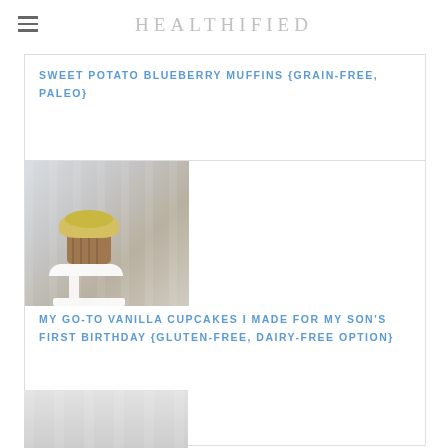HEALTHIFIED
SWEET POTATO BLUEBERRY MUFFINS {GRAIN-FREE, PALEO}
[Figure (photo): A cupcake with yellow frosting on a white cake stand, light background]
MY GO-TO VANILLA CUPCAKES I MADE FOR MY SON'S FIRST BIRTHDAY {GLUTEN-FREE, DAIRY-FREE OPTION}
[Figure (photo): Partial photo of a food item at bottom of page]